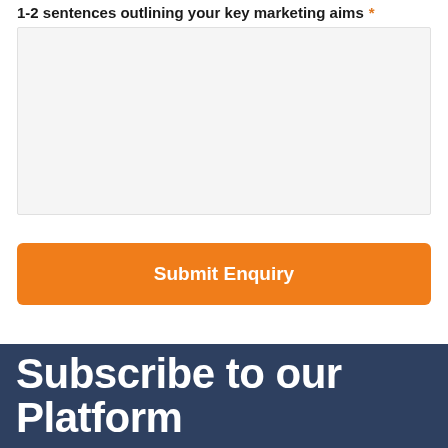1-2 sentences outlining your key marketing aims *
Submit Enquiry
Subscribe to our Platform